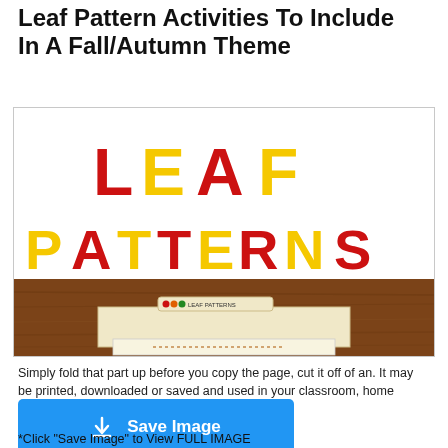Leaf Pattern Activities To Include In A Fall/Autumn Theme
[Figure (illustration): Decorative image showing 'LEAF PATTERNS' text in large bold alternating dark red and yellow letters on white background, with a brown wood-textured area at the bottom containing a manila folder with a label reading 'LEAF PATTERNS' with colored dots, and a sheet of paper with a dotted line visible below the folder.]
Simply fold that part up before you copy the page, cut it off of an. It may be printed, downloaded or saved and used in your classroom, home school, or other.
Save Image
*Click "Save Image" to View FULL IMAGE